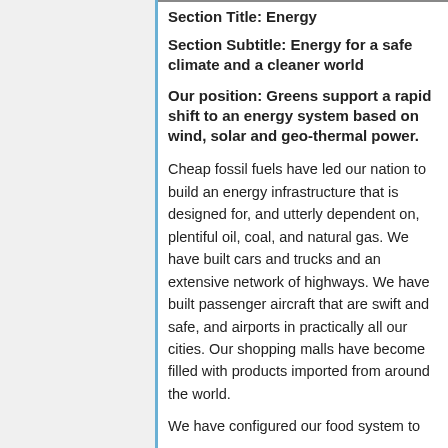Section Title: Energy
Section Subtitle: Energy for a safe climate and a cleaner world
Our position: Greens support a rapid shift to an energy system based on wind, solar and geo-thermal power.
Cheap fossil fuels have led our nation to build an energy infrastructure that is designed for, and utterly dependent on, plentiful oil, coal, and natural gas. We have built cars and trucks and an extensive network of highways. We have built passenger aircraft that are swift and safe, and airports in practically all our cities. Our shopping malls have become filled with products imported from around the world.
We have configured our food system to take advantage of fossil fuels by…